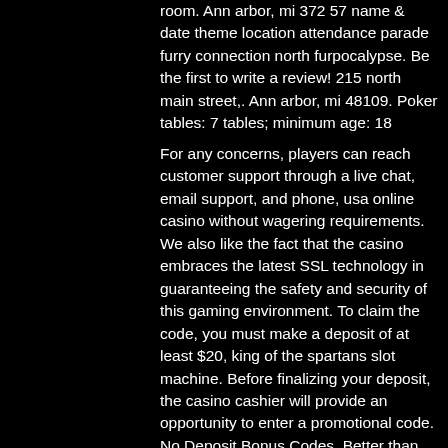room. Ann arbor, mi 372 57 name &amp; date theme location attendance parade furry connection north furpocalypse. Be the first to write a review! 215 north main street,. Ann arbor, mi 48109. Poker tables: 7 tables; minimum age: 18
For any concerns, players can reach customer support through a live chat, email support, and phone, usa online casino without wagering requirements. We also like the fact that the casino embraces the latest SSL technology in guaranteeing the safety and security of this gaming environment. To claim the code, you must make a deposit of at least $20, king of the spartans slot machine. Before finalizing your deposit, the casino cashier will provide an opportunity to enter a promotional code. No Deposit Bonus Codes. Better than playing the fun mode for free (since you cannot actually win anything tangible in the latter), with the bonus codes you can create an account and start playing